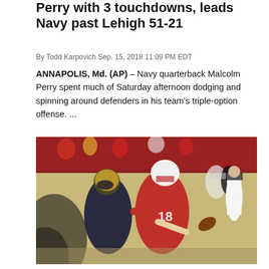Perry with 3 touchdowns, leads Navy past Lehigh 51-21
By Todd Karpovich Sep. 15, 2018 11:09 PM EDT
ANNAPOLIS, Md. (AP) – Navy quarterback Malcolm Perry spent much of Saturday afternoon dodging and spinning around defenders in his team's triple-option offense. ...
[Figure (photo): Football action photo showing two players — one in a red jersey and white helmet, another in a dark jersey and gold helmet — in a tackling/catching scene, with a referee in the background.]